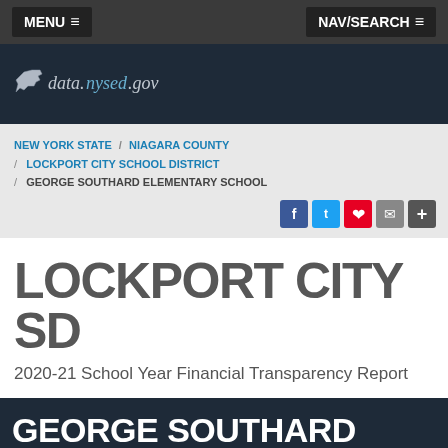MENU ≡   NAV/SEARCH ≡
[Figure (logo): data.nysed.gov logo with New York state outline icon]
NEW YORK STATE / NIAGARA COUNTY / LOCKPORT CITY SCHOOL DISTRICT / GEORGE SOUTHARD ELEMENTARY SCHOOL
LOCKPORT CITY SD
2020-21 School Year Financial Transparency Report
GEORGE SOUTHARD ELEMENTARY SCHOOL